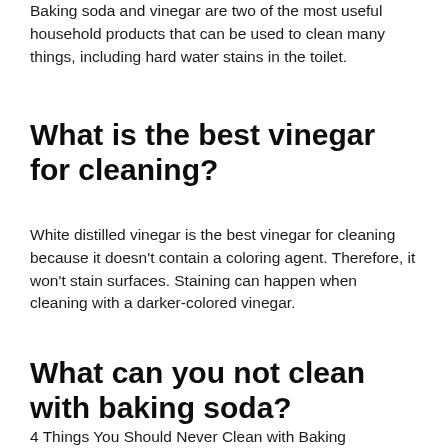Baking soda and vinegar are two of the most useful household products that can be used to clean many things, including hard water stains in the toilet.
What is the best vinegar for cleaning?
White distilled vinegar is the best vinegar for cleaning because it doesn’t contain a coloring agent. Therefore, it won’t stain surfaces. Staining can happen when cleaning with a darker-colored vinegar.
What can you not clean with baking soda?
4 Things You Should Never Clean with Baking